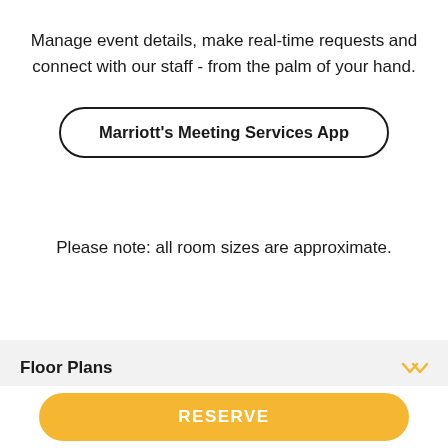Manage event details, make real-time requests and connect with our staff - from the palm of your hand.
[Figure (other): Button with rounded border labeled "Marriott's Meeting Services App"]
Please note: all room sizes are approximate.
Floor Plans
[Figure (other): Yellow RESERVE button at bottom of screen]